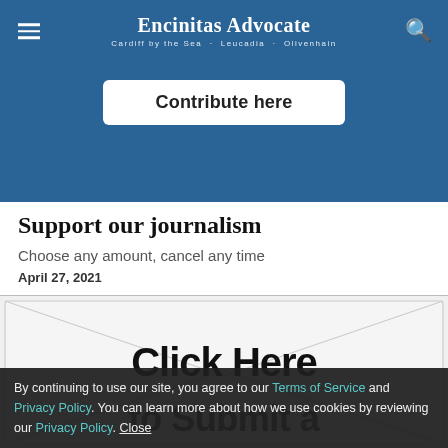Encinitas Advocate
[Figure (other): Blue banner with a white rounded-rectangle button labeled 'Contribute here']
Support our journalism
Choose any amount, cancel any time
April 27, 2021
[Figure (illustration): Envelope illustration with bold text 'Click Here to Submit a']
By continuing to use our site, you agree to our Terms of Service and Privacy Policy. You can learn more about how we use cookies by reviewing our Privacy Policy. Close